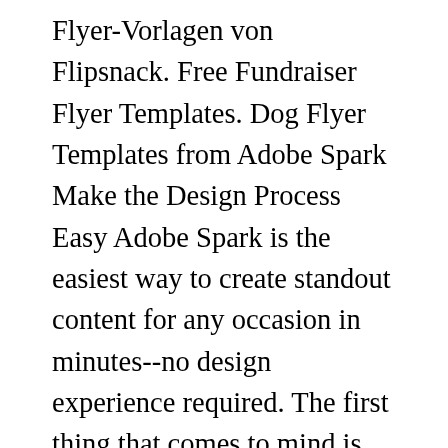Flyer-Vorlagen von Flipsnack. Free Fundraiser Flyer Templates. Dog Flyer Templates from Adobe Spark Make the Design Process Easy Adobe Spark is the easiest way to create standout content for any occasion in minutes--no design experience required. The first thing that comes to mind is вЃьI need a great looking logo or picture to attract more customersвЃќ, but this is not the right approach, or at least, it's not the only one. $0.95 Dog Walker Scottie Plaid Personalized Tear Sheet. She's living in California, so I wanted it to have bright, summery colors. Another thing that people barely ever realize is that lost dog flyer templates are not just sent